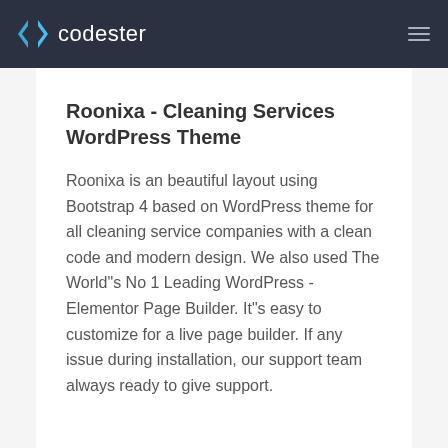codester
Roonixa - Cleaning Services WordPress Theme
Roonixa is an beautiful layout using Bootstrap 4 based on WordPress theme for all cleaning service companies with a clean code and modern design. We also used The World"s No 1 Leading WordPress - Elementor Page Builder. It"s easy to customize for a live page builder. If any issue during installation, our support team always ready to give support.